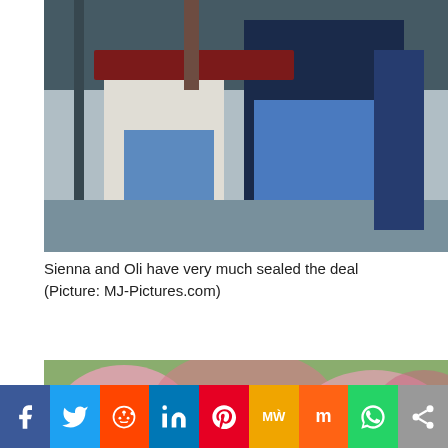[Figure (photo): Close-up photo of two people seated at an outdoor café table. One person wears jeans and a navy jacket, the other a light top. A dark red table edge is visible.]
Sienna and Oli have very much sealed the deal (Picture: MJ-Pictures.com)
[Figure (photo): Outdoor photo of a young man with curly dark hair and a woman wearing sunglasses, walking together with pink flowering trees in the background.]
[Figure (infographic): Social media sharing bar with icons for Facebook, Twitter, Reddit, LinkedIn, Pinterest, MeWe, Mix, WhatsApp, and Share.]